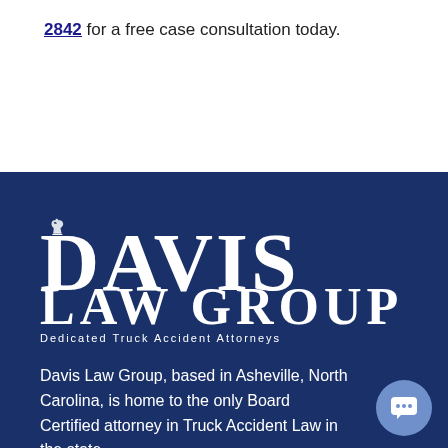2842 for a free case consultation today.
[Figure (logo): Davis Law Group logo — large white text 'DAVIS' on top line and 'LAW GROUP' below, with a chess knight icon inside the D, on a dark navy background. Tagline: 'Dedicated Truck Accident Attorneys']
Davis Law Group, based in Asheville, North Carolina, is home to the only Board Certified attorney in Truck Accident Law in the state